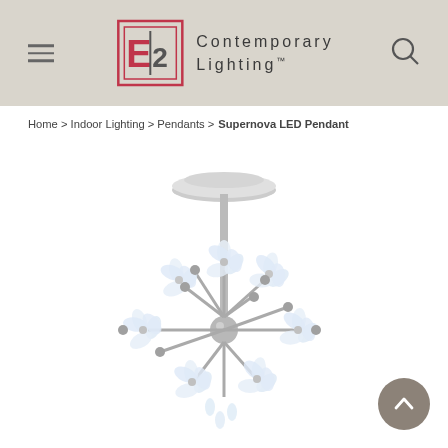ET2 Contemporary Lighting™
Home > Indoor Lighting > Pendants > Supernova LED Pendant
[Figure (photo): A chrome Supernova LED Pendant chandelier with crystal floral clusters radiating from a central sphere, hanging from a ceiling canopy via a metal rod, photographed on white background.]